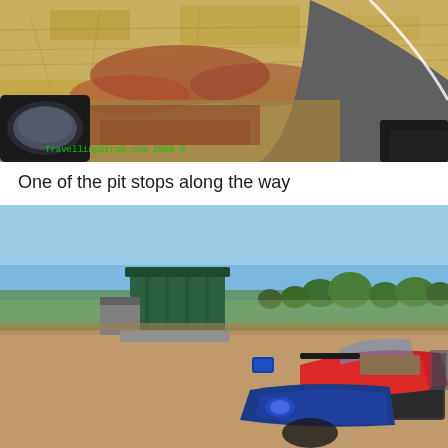[Figure (photo): Motorcycle point-of-view shot showing outback Australian road with dry yellow grass, red gravel, and asphalt road curving to the right. Motorcycle mirror visible bottom-left. Green watermark text 'TravellingStrom.com 2008 ©' overlaid at bottom-left.]
One of the pit stops along the way
[Figure (photo): Motorcycle (red and blue touring bike with panniers) parked at a rest stop in outback Australia. Green water tank/storage facility visible in background, trees on the horizon, clear blue sky above.]